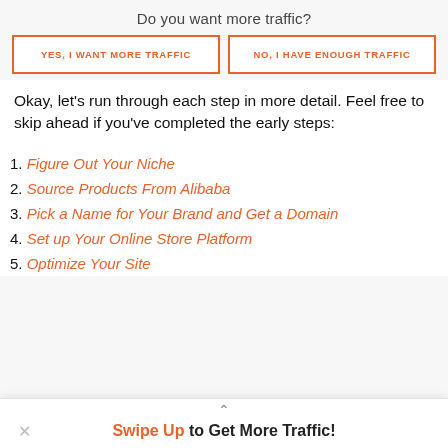Do you want more traffic?
[Figure (other): Two buttons side by side: 'YES, I WANT MORE TRAFFIC' and 'NO, I HAVE ENOUGH TRAFFIC', both with orange border and orange text on white background.]
Okay, let's run through each step in more detail. Feel free to skip ahead if you've completed the early steps:
1. Figure Out Your Niche
2. Source Products From Alibaba
3. Pick a Name for Your Brand and Get a Domain
4. Set up Your Online Store Platform
5. Optimize Your Site
Swipe Up to Get More Traffic!